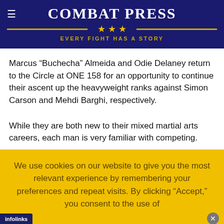COMBAT PRESS — EVERY FIGHT HAS A STORY
Marcus “Buchecha” Almeida and Odie Delaney return to the Circle at ONE 158 for an opportunity to continue their ascent up the heavyweight ranks against Simon Carson and Mehdi Barghi, respectively.
While they are both new to their mixed martial arts careers, each man is very familiar with competing.
We use cookies on our website to give you the most relevant experience by remembering your preferences and repeat visits. By clicking “Accept,” you consent to the use of